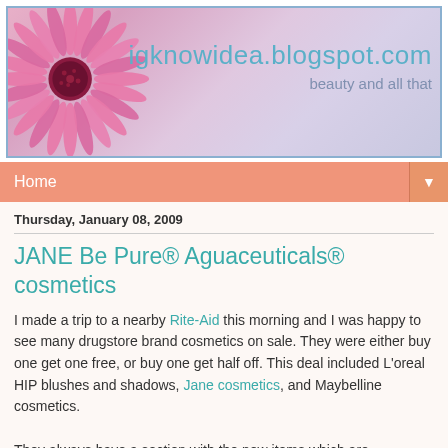[Figure (illustration): Blog header banner with pink gerbera daisy flower on the left and blog title 'igknowidea.blogspot.com' with subtitle 'beauty and all that' on a pink/purple gradient background]
Home ▼
Thursday, January 08, 2009
JANE Be Pure® Aguaceuticals® cosmetics
I made a trip to a nearby Rite-Aid this morning and I was happy to see many drugstore brand cosmetics on sale. They were either buy one get one free, or buy one get half off. This deal included L'oreal HIP blushes and shadows, Jane cosmetics, and Maybelline cosmetics.
They always have a section with the new items which are